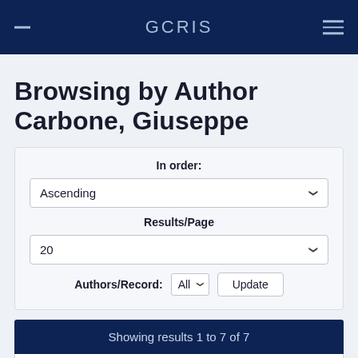GCRIS
Browsing by Author Carbone, Giuseppe
In order: Ascending
Results/Page: 20
Authors/Record: All — Update
Showing results 1 to 7 of 7
| Issue Date | Title | Author(s) |
| --- | --- | --- |